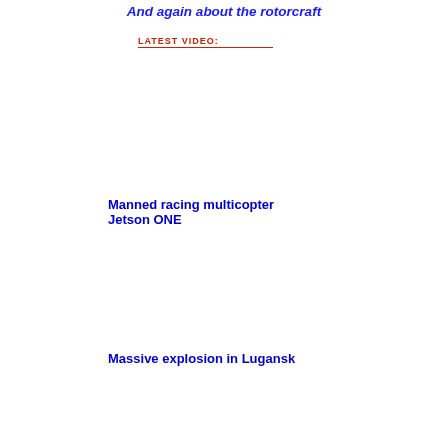And again about the rotorcraft
LATEST VIDEO:
Manned racing multicopter Jetson ONE
Massive explosion in Lugansk